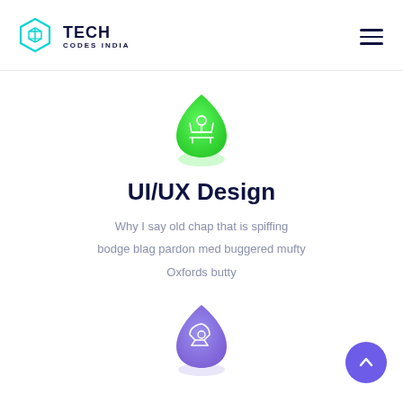TECH CODES INDIA
[Figure (logo): Hexagon cube logo icon for Tech Codes India]
[Figure (illustration): Green teardrop/leaf shape with white UI/UX design icon (person with arms out)]
UI/UX Design
Why I say old chap that is spiffing bodge blag pardon med buggered mufty Oxfords butty
[Figure (illustration): Purple teardrop shape with white rocket/launch icon]
[Figure (illustration): Purple circle button with white upward arrow (back to top)]